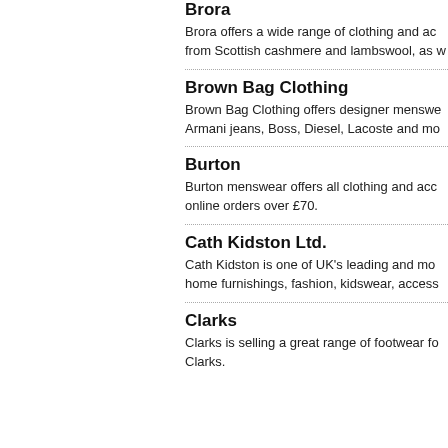Brora
Brora offers a wide range of clothing and accessories made from Scottish cashmere and lambswool, as w
Brown Bag Clothing
Brown Bag Clothing offers designer menswear including Armani jeans, Boss, Diesel, Lacoste and mo
Burton
Burton menswear offers all clothing and acco online orders over £70.
Cath Kidston Ltd.
Cath Kidston is one of UK's leading and mos home furnishings, fashion, kidswear, access
Clarks
Clarks is selling a great range of footwear fo Clarks.